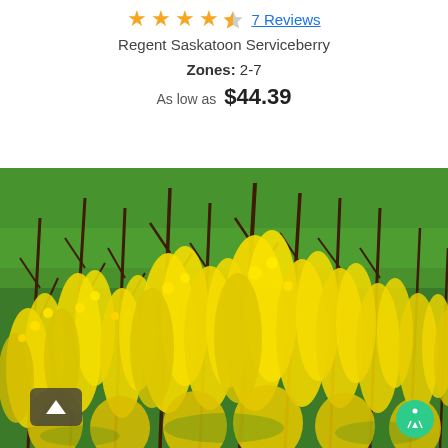★★★★½ 7 Reviews
Regent Saskatoon Serviceberry
Zones: 2-7
As low as $44.39
[Figure (photo): Yellow flowering shrubs with dark branches covered in bright yellow blossoms, green grass background. Forsythia-like plant photographed in bloom.]